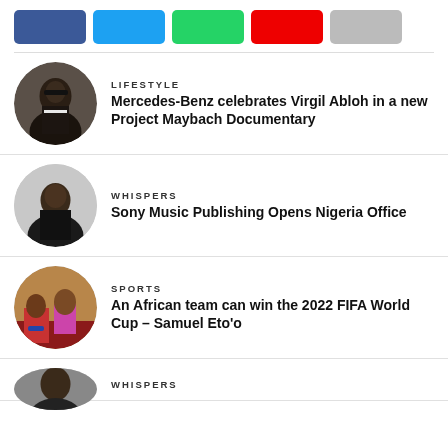[Figure (other): Social media share buttons: Facebook (blue), Twitter (light blue), WhatsApp (green), YouTube/share (red), Email (gray)]
[Figure (photo): Circular portrait of Virgil Abloh in dark jacket with glasses]
LIFESTYLE
Mercedes-Benz celebrates Virgil Abloh in a new Project Maybach Documentary
[Figure (photo): Circular portrait of a man in black shirt against light background]
WHISPERS
Sony Music Publishing Opens Nigeria Office
[Figure (photo): Circular photo of two people seated, one in red shirt and jeans, one in pink dress]
SPORTS
An African team can win the 2022 FIFA World Cup – Samuel Eto'o
[Figure (photo): Partial circular portrait at bottom, partially cropped]
WHISPERS